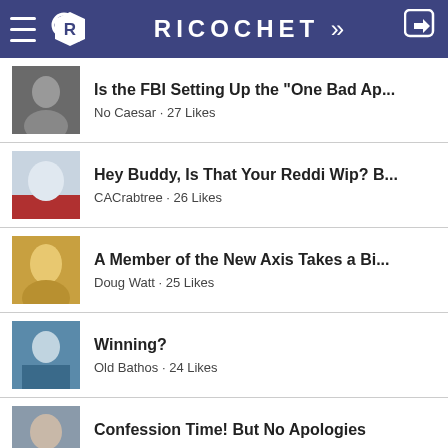RICOCHET
Is the FBI Setting Up the 'One Bad Ap... · No Caesar · 27 Likes
Hey Buddy, Is That Your Reddi Wip? B... · CACrabtree · 26 Likes
A Member of the New Axis Takes a Bi... · Doug Watt · 25 Likes
Winning? · Old Bathos · 24 Likes
Confession Time! But No Apologies · Kelly D Johnston · 24 Likes
Having My Cakes (and Eating Them, ... · I. M. Fine · 23 Likes